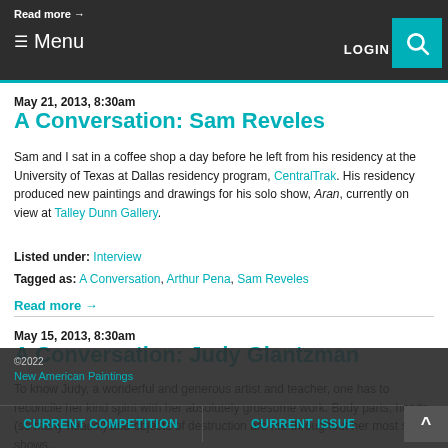Read more → Menu LOGIN
May 21, 2013, 8:30am
A Conversation: Sam Reveles
Sam and I sat in a coffee shop a day before he left from his residency at the University of Texas at Dallas residency program, CentralTrak. His residency produced new paintings and drawings for his solo show, Aran, currently on view at Talley Dunn Gallery.
Listed under: Interview
Tagged as: A Conversation, Arthur Pena, Sam Reveles
Read more →
May 15, 2013, 8:30am
A Conversation: Judy Glantzman
To know Judy, a wonderful and generous artist and teacher, one has to reconcile her kind spirit with her absolutely gruesome work. Body parts, heads (so many heads!) and objects of destruction are rife throughout her most solo shows…
©2022 New American Paintings CURRENT COMPETITION CURRENT ISSUE ^